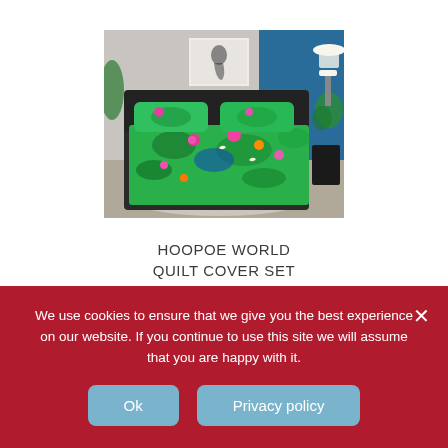[Figure (photo): A bed with a vibrant tropical floral quilt cover set featuring green, pink, blue and orange tones. The bed is in a styled bedroom with blue wall accent and a framed artwork above the headboard.]
HOOPOE WORLD QUILT COVER SET £17.50 – £21.00
We use cookies to ensure that we give you the best experience on our website. If you continue to use this site we will assume that you are happy with it.